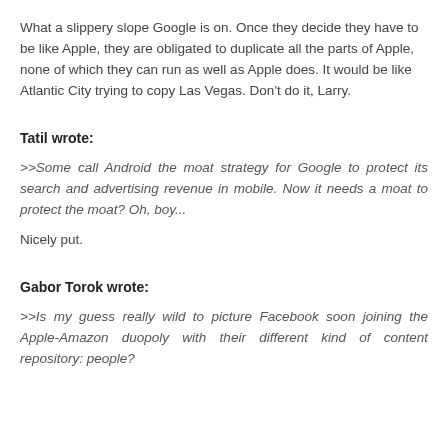What a slippery slope Google is on. Once they decide they have to be like Apple, they are obligated to duplicate all the parts of Apple, none of which they can run as well as Apple does. It would be like Atlantic City trying to copy Las Vegas. Don't do it, Larry.
Tatil wrote:
>>Some call Android the moat strategy for Google to protect its search and advertising revenue in mobile. Now it needs a moat to protect the moat? Oh, boy...
Nicely put.
Gabor Torok wrote:
>>Is my guess really wild to picture Facebook soon joining the Apple-Amazon duopoly with their different kind of content repository: people?